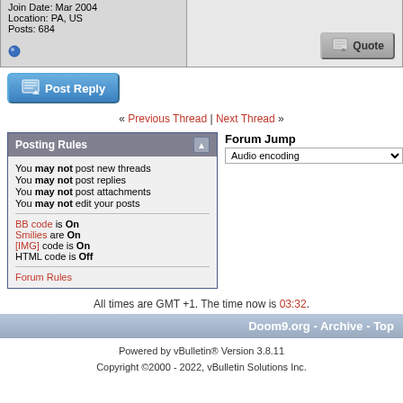Join Date: Mar 2004
Location: PA, US
Posts: 684
Post Reply
« Previous Thread | Next Thread »
Posting Rules
You may not post new threads
You may not post replies
You may not post attachments
You may not edit your posts
BB code is On
Smilies are On
[IMG] code is On
HTML code is Off
Forum Rules
Forum Jump
Audio encoding
All times are GMT +1. The time now is 03:32.
Doom9.org - Archive - Top
Powered by vBulletin® Version 3.8.11
Copyright ©2000 - 2022, vBulletin Solutions Inc.